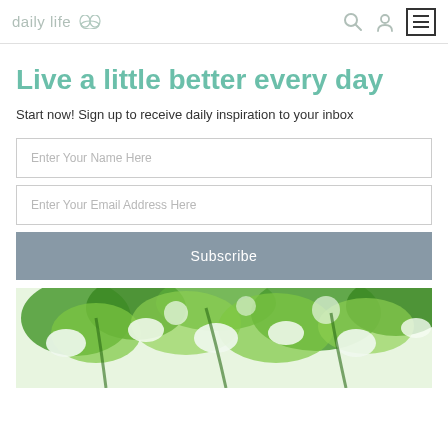daily life 🌸
Live a little better every day
Start now! Sign up to receive daily inspiration to your inbox
[Figure (screenshot): Web form with name input, email input, and Subscribe button]
[Figure (photo): Looking up through lush green tree canopy with white blossoms against bright sky]